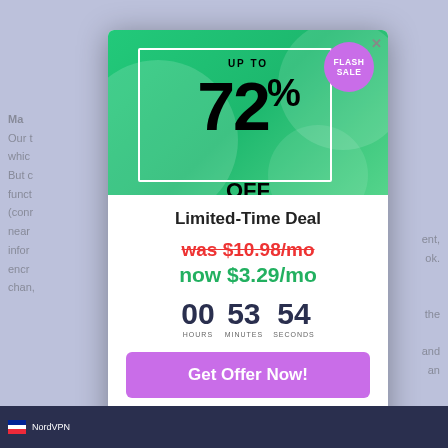[Figure (infographic): Flash sale promotional modal overlay. Green banner at top with large '72% OFF' text, 'UP TO' above it, 'FLASH SALE' purple badge top-right. White bordered rectangle around the offer text area.]
Limited-Time Deal
was $10.98/mo
now $3.29/mo
00 HOURS  53 MINUTES  54 SECONDS
Get Offer Now!
No Thanks